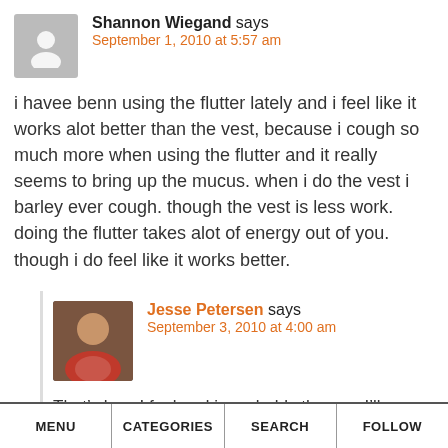Shannon Wiegand says
September 1, 2010 at 5:57 am
i havee benn using the flutter lately and i feel like it works alot better than the vest, because i cough so much more when using the flutter and it really seems to bring up the mucus. when i do the vest i barley ever cough. though the vest is less work. doing the flutter takes alot of energy out of you. though i do feel like it works better.
Jesse Petersen says
September 3, 2010 at 4:00 am
That’s how I feel and is probably the way I’ll go as soon as I’m sure it won’t cost me too much to get a Flutter – durable goods are
MENU   CATEGORIES   SEARCH   FOLLOW